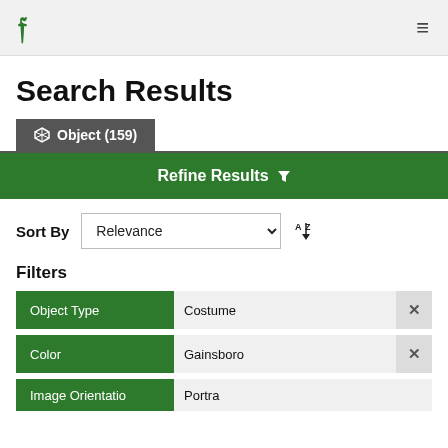Header navigation bar with logo and hamburger menu
Search Results
Object (159)
Refine Results
Sort By Relevance
Filters
Object Type: Costume
Color: Gainsboro
Image Orientation: Portrait